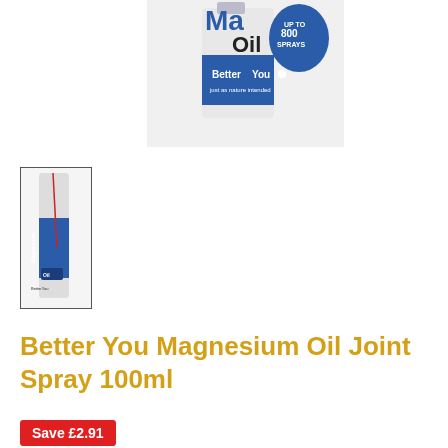[Figure (photo): BetterYou Magnesium Oil product bottle with blue cap, showing 'Mag Oil UP TO 800 SPRAYS' text and BetterYou logo 'just as nature intended']
[Figure (photo): Small thumbnail of BetterYou Magnesium Oil Joint Spray 100ml bottle with blue label]
Better You Magnesium Oil Joint Spray 100ml
Save £2.91